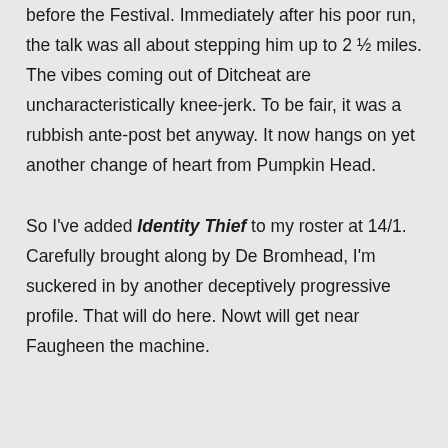before the Festival. Immediately after his poor run, the talk was all about stepping him up to 2 ½ miles. The vibes coming out of Ditcheat are uncharacteristically knee-jerk. To be fair, it was a rubbish ante-post bet anyway. It now hangs on yet another change of heart from Pumpkin Head.

So I've added Identity Thief to my roster at 14/1. Carefully brought along by De Bromhead, I'm suckered in by another deceptively progressive profile. That will do here. Nowt will get near Faugheen the machine.